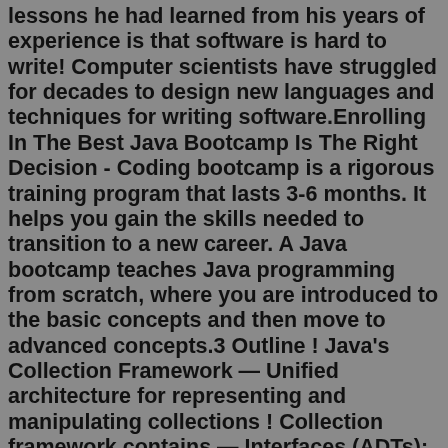lessons he had learned from his years of experience is that software is hard to write! Computer scientists have struggled for decades to design new languages and techniques for writing software.Enrolling In The Best Java Bootcamp Is The Right Decision - Coding bootcamp is a rigorous training program that lasts 3-6 months. It helps you gain the skills needed to transition to a new career. A Java bootcamp teaches Java programming from scratch, where you are introduced to the basic concepts and then move to advanced concepts.3 Outline ! Java's Collection Framework — Unified architecture for representing and manipulating collections ! Collection framework contains — Interfaces (ADTs): specification not implementation Document presentation format: On-screen Show Company: Personal Other titles: Arial Courier New Koffman Template Cmp Sci 187: Introduction to Java Topics of the Review Some Salient Characteristics of Java Java Processing and Execution Compiling and Executing a Java Program Classes and Objects Grouping Classes: The Java API